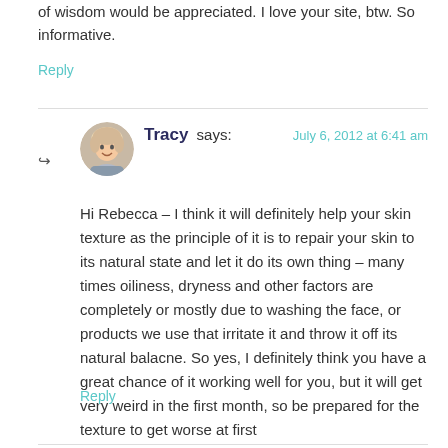of wisdom would be appreciated. I love your site, btw. So informative.
Reply
Tracy says:
July 6, 2012 at 6:41 am
Hi Rebecca – I think it will definitely help your skin texture as the principle of it is to repair your skin to its natural state and let it do its own thing – many times oiliness, dryness and other factors are completely or mostly due to washing the face, or products we use that irritate it and throw it off its natural balacne. So yes, I definitely think you have a great chance of it working well for you, but it will get very weird in the first month, so be prepared for the texture to get worse at first
Reply